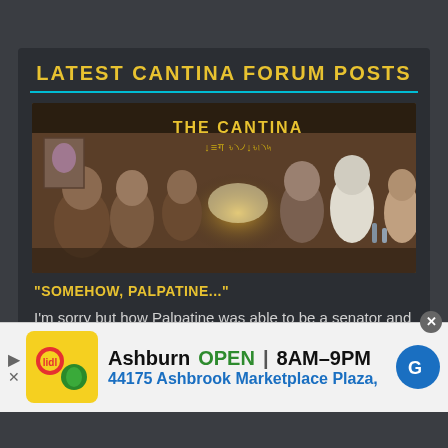LATEST CANTINA FORUM POSTS
[Figure (illustration): The Cantina forum banner image showing a sci-fi/fantasy tavern scene with various alien characters, with 'THE CANTINA' written in yellow text with alien script below]
"SOMEHOW, PALPATINE..."
I'm sorry but how Palpatine was able to be a senator and corrupt most of the senate and conspired with...
By: Martoto
46 minutes 17 seconds ago
Ashburn   OPEN | 8AM–9PM
44175 Ashbrook Marketplace Plaza,